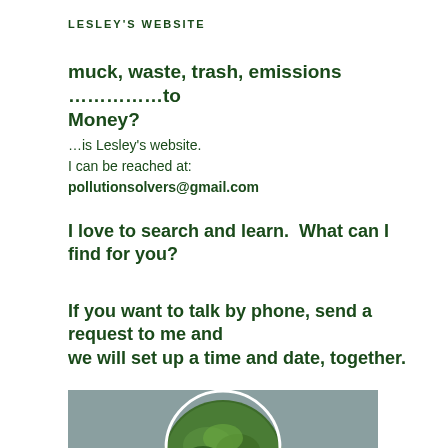LESLEY'S WEBSITE
muck, waste, trash, emissions ………………to Money?
…is Lesley's website.
I can be reached at:
pollutionsolvers@gmail.com
I love to search and learn.  What can I find for you?
If you want to talk by phone, send a request to me and
we will set up a time and date, together.
[Figure (photo): Circular portrait photo of a person against a grey background, with green foliage visible]